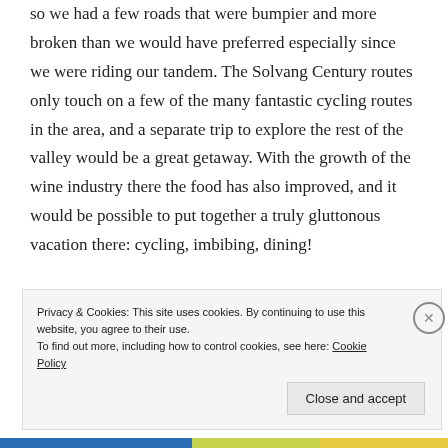so we had a few roads that were bumpier and more broken than we would have preferred especially since we were riding our tandem. The Solvang Century routes only touch on a few of the many fantastic cycling routes in the area, and a separate trip to explore the rest of the valley would be a great getaway. With the growth of the wine industry there the food has also improved, and it would be possible to put together a truly gluttonous vacation there: cycling, imbibing, dining!
Privacy & Cookies: This site uses cookies. By continuing to use this website, you agree to their use. To find out more, including how to control cookies, see here: Cookie Policy
Close and accept